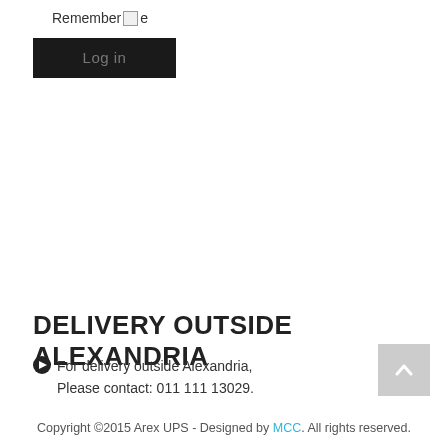Remember e
Log in
DELIVERY OUTSIDE ALEXANDRIA
For delivery outside Alexandria, Please contact: 011 111 13029.
Copyright ©2015 Arex UPS - Designed by MCC. All rights reserved.